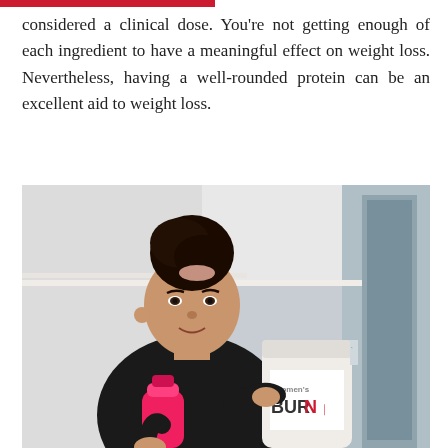considered a clinical dose. You're not getting enough of each ingredient to have a meaningful effect on weight loss. Nevertheless, having a well-rounded protein can be an excellent aid to weight loss.
[Figure (photo): A young woman with dark hair in a bun, wearing a black long-sleeve top, holding a pink shaker bottle in one hand and a white tub of 'Women's BURN' protein supplement in the other. She is standing indoors.]